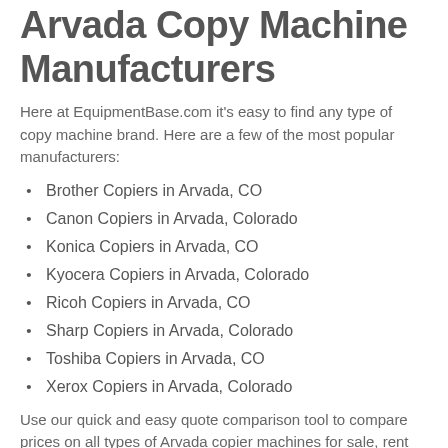Arvada Copy Machine Manufacturers
Here at EquipmentBase.com it's easy to find any type of copy machine brand. Here are a few of the most popular manufacturers:
Brother Copiers in Arvada, CO
Canon Copiers in Arvada, Colorado
Konica Copiers in Arvada, CO
Kyocera Copiers in Arvada, Colorado
Ricoh Copiers in Arvada, CO
Sharp Copiers in Arvada, Colorado
Toshiba Copiers in Arvada, CO
Xerox Copiers in Arvada, Colorado
Use our quick and easy quote comparison tool to compare prices on all types of Arvada copier machines for sale, rent and lease. You won't find better prices on copiers in Arvada, CO anywhere else!
Copy Machines Near Arvada, CO